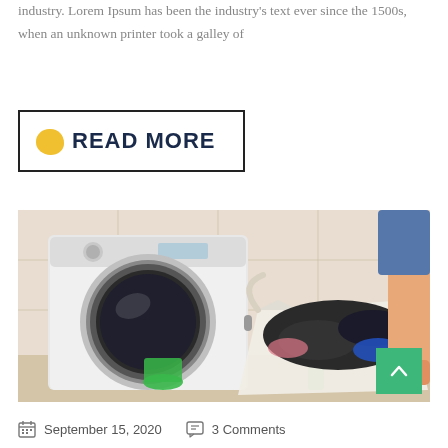industry. Lorem Ipsum has been the industry's text ever since the 1500s, when an unknown printer took a galley of
[Figure (other): READ MORE button with yellow blob icon, bordered box]
[Figure (photo): Person carrying laundry basket next to a front-loading washing machine]
September 15, 2020    3 Comments